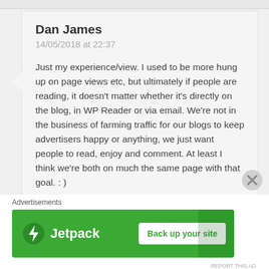Dan James
14/05/2018 at 22:37
Just my experience/view. I used to be more hung up on page views etc, but ultimately if people are reading, it doesn't matter whether it's directly on the blog, in WP Reader or via email. We're not in the business of farming traffic for our blogs to keep advertisers happy or anything, we just want people to read, enjoy and comment. At least I think we're both on much the same page with that goal. : )
Liked by 1 person
Advertisements
[Figure (screenshot): Jetpack advertisement banner with logo and 'Back up your site' button on green background]